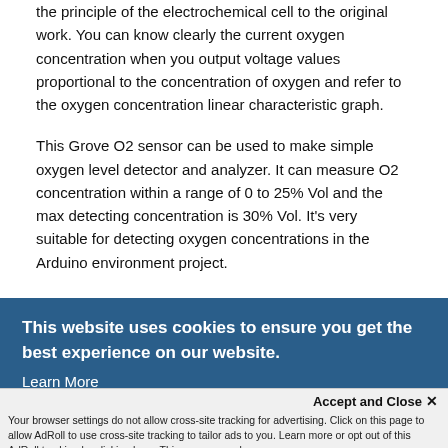the principle of the electrochemical cell to the original work. You can know clearly the current oxygen concentration when you output voltage values proportional to the concentration of oxygen and refer to the oxygen concentration linear characteristic graph.
This Grove O2 sensor can be used to make simple oxygen level detector and analyzer. It can measure O2 concentration within a range of 0 to 25% Vol and the max detecting concentration is 30% Vol. It's very suitable for detecting oxygen concentrations in the Arduino environment project.
This sensor needs to be connected with the grove Pi+ which
o Uno.
ere is a
but how
egin
n!
This website uses cookies to ensure you get the best experience on our website.
Learn More
Accept and Close ✕
Your browser settings do not allow cross-site tracking for advertising. Click on this page to allow AdRoll to use cross-site tracking to tailor ads to you. Learn more or opt out of this AdRoll tracking by clicking here. This message only appears once.